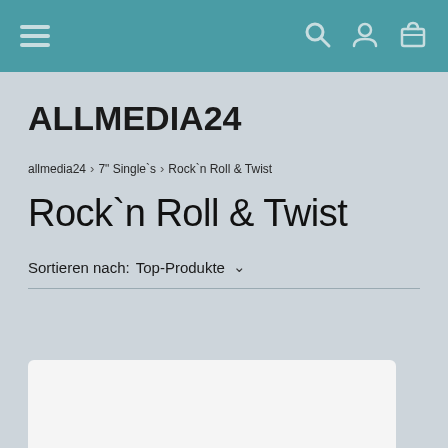ALLMEDIA24 navigation bar with hamburger menu, search, account, and cart icons
ALLMEDIA24
allmedia24 > 7" Single`s > Rock`n Roll & Twist
Rock`n Roll & Twist
Sortieren nach:  Top-Produkte
[Figure (other): Partial product card placeholder at bottom of page]